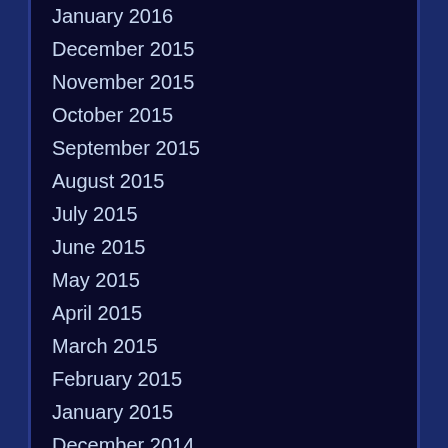January 2016
December 2015
November 2015
October 2015
September 2015
August 2015
July 2015
June 2015
May 2015
April 2015
March 2015
February 2015
January 2015
December 2014
November...